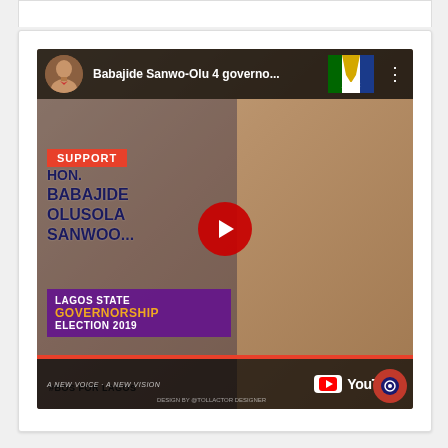[Figure (screenshot): YouTube video thumbnail/embed showing a political campaign poster for Babajide Sanwo-Olu for Lagos State Governorship Election 2019, with APC party branding. The video title reads 'Babajide Sanwo-Olu 4 governo...' with a YouTube play button overlay. The poster shows text: SUPPORT HON. BABAJIDE OLUSOLA SANWO-OLU, LAGOS STATE GOVERNORSHIP ELECTION 2019, #BOS FOR LAGOS. Bottom bar shows YouTube logo and 'A NEW VOICE · A NEW VISION'.]